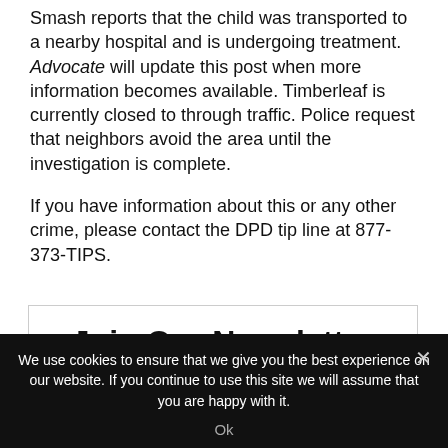Smash reports that the child was transported to a nearby hospital and is undergoing treatment. Advocate will update this post when more information becomes available. Timberleaf is currently closed to through traffic. Police request that neighbors avoid the area until the investigation is complete.
If you have information about this or any other crime, please contact the DPD tip line at 877-373-TIPS.
Join Our Newsletter
We use cookies to ensure that we give you the best experience on our website. If you continue to use this site we will assume that you are happy with it.
Ok